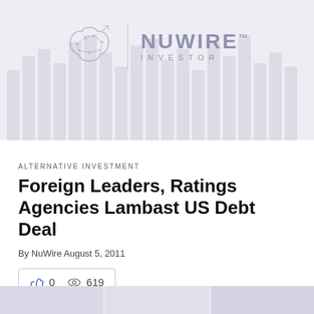[Figure (logo): NuWire Investor logo with circuit-brain icon, set against a light grey background with faint bar chart watermark]
ALTERNATIVE INVESTMENT
Foreign Leaders, Ratings Agencies Lambast US Debt Deal
By NuWire August 5, 2011
👍 0   👁 619